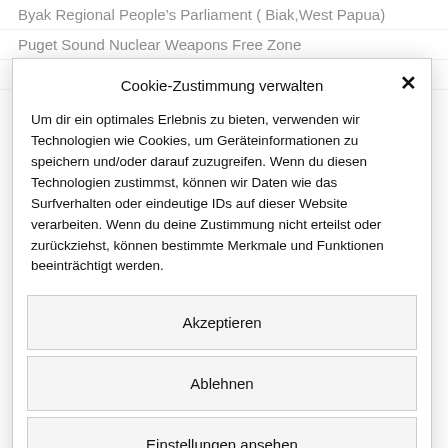Byak Regional People's Parliament (Biak, West Papua)
Puget Sound Nuclear Weapons Free Zone
Quaker Peace & Service Aotearoa New Zealand
Cookie-Zustimmung verwalten
Um dir ein optimales Erlebnis zu bieten, verwenden wir Technologien wie Cookies, um Geräteinformationen zu speichern und/oder darauf zuzugreifen. Wenn du diesen Technologien zustimmst, können wir Daten wie das Surfverhalten oder eindeutige IDs auf dieser Website verarbeiten. Wenn du deine Zustimmung nicht erteilst oder zurückziehst, können bestimmte Merkmale und Funktionen beeinträchtigt werden.
Akzeptieren
Ablehnen
Einstellungen ansehen
Datenschutz   Impressum